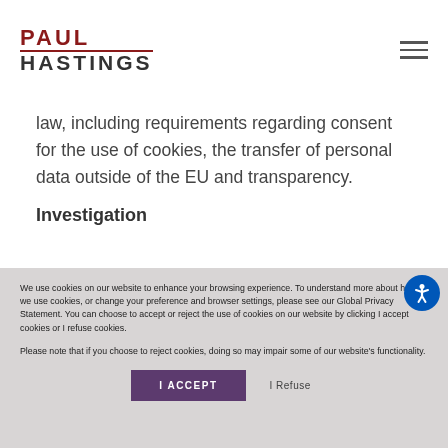[Figure (logo): Paul Hastings law firm logo with red PAUL text and gray HASTINGS text]
law, including requirements regarding consent for the use of cookies, the transfer of personal data outside of the EU and transparency.
Investigation
We use cookies on our website to enhance your browsing experience. To understand more about how we use cookies, or change your preference and browser settings, please see our Global Privacy Statement. You can choose to accept or reject the use of cookies on our website by clicking I accept cookies or I refuse cookies.
Please note that if you choose to reject cookies, doing so may impair some of our website's functionality.